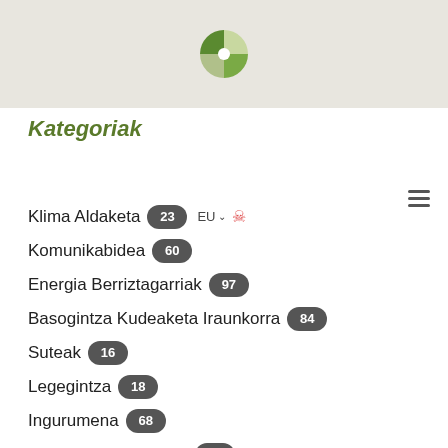[Figure (logo): Green leaf/pie-chart logo icon]
Kategoriak
Klima Aldaketa 23
Komunikabidea 60
Energia Berriztagarriak 97
Basogintza Kudeaketa Iraunkorra 84
Suteak 16
Legegintza 18
Ingurumena 68
Basogintza Merkatua 39
Planta-Viveros 9
Basogintza Politika 30
Zuraren Sustapena 85
Basogintza Ustiapena 17